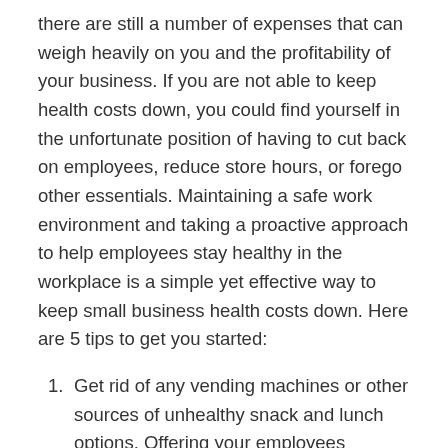there are still a number of expenses that can weigh heavily on you and the profitability of your business. If you are not able to keep health costs down, you could find yourself in the unfortunate position of having to cut back on employees, reduce store hours, or forego other essentials. Maintaining a safe work environment and taking a proactive approach to help employees stay healthy in the workplace is a simple yet effective way to keep small business health costs down. Here are 5 tips to get you started:
Get rid of any vending machines or other sources of unhealthy snack and lunch options. Offering your employees choices such as water, vegetable or fruit juice, fresh fruit, sandwiches,